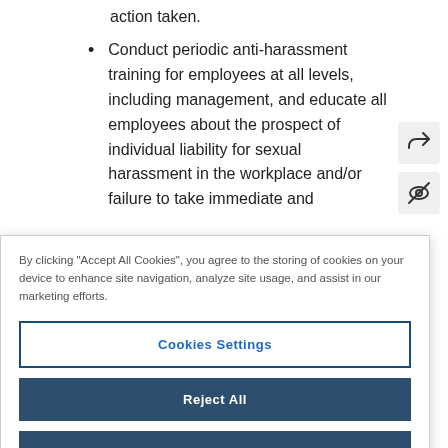action taken.
Conduct periodic anti-harassment training for employees at all levels, including management, and educate all employees about the prospect of individual liability for sexual harassment in the workplace and/or failure to take immediate and
By clicking "Accept All Cookies", you agree to the storing of cookies on your device to enhance site navigation, analyze site usage, and assist in our marketing efforts.
Cookies Settings
Reject All
Accept All Cookies